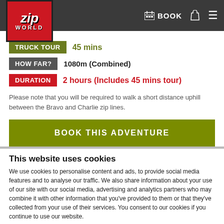[Figure (logo): Zip World logo in red box with stylized ZIP text and WORLD below]
BOOK
TRUCK TOUR   45 mins
HOW FAR?   1080m (Combined)
DURATION   2 hours (Includes 45 mins tour)
Please note that you will be required to walk a short distance uphill between the Bravo and Charlie zip lines.
BOOK THIS ADVENTURE
This website uses cookies
We use cookies to personalise content and ads, to provide social media features and to analyse our traffic. We also share information about your use of our site with our social media, advertising and analytics partners who may combine it with other information that you've provided to them or that they've collected from your use of their services. You consent to our cookies if you continue to use our website.
OK